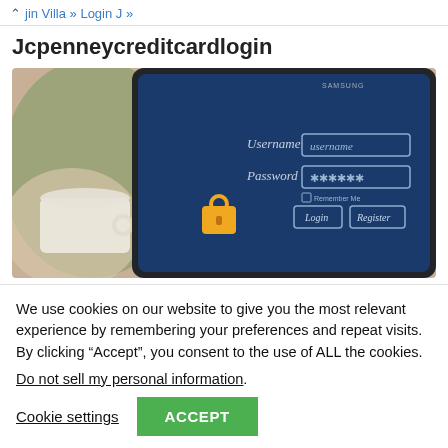jin Villa » Login J »
Jcpenneycreditcardlogin
[Figure (screenshot): Screenshot of a Samsung tablet displaying a login form with Username and Password fields, a padlock icon, and Login and Register buttons on a blue background. A coffee cup and plant are visible in the background.]
We use cookies on our website to give you the most relevant experience by remembering your preferences and repeat visits. By clicking “Accept”, you consent to the use of ALL the cookies.
Do not sell my personal information.
Cookie settings  ACCEPT